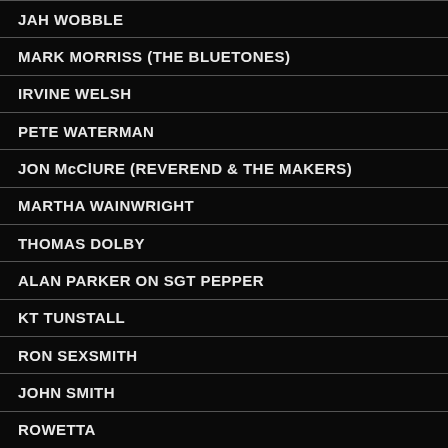JAH WOBBLE
MARK MORRISS (THE BLUETONES)
IRVINE WELSH
PETE WATERMAN
JON McCLURE (REVEREND & THE MAKERS)
MARTHA WAINWRIGHT
THOMAS DOLBY
ALAN PARKER ON SGT PEPPER
KT TUNSTALL
RON SEXSMITH
JOHN SMITH
ROWETTA